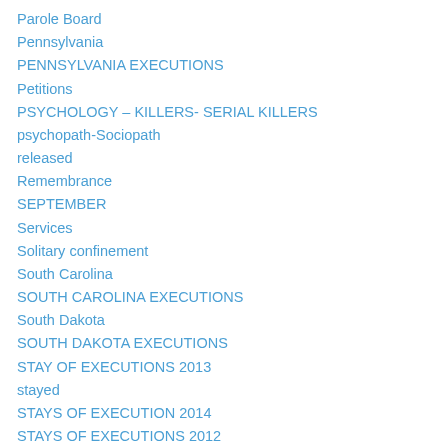Parole Board
Pennsylvania
PENNSYLVANIA EXECUTIONS
Petitions
PSYCHOLOGY – KILLERS- SERIAL KILLERS
psychopath-Sociopath
released
Remembrance
SEPTEMBER
Services
Solitary confinement
South Carolina
SOUTH CAROLINA EXECUTIONS
South Dakota
SOUTH DAKOTA EXECUTIONS
STAY OF EXECUTIONS 2013
stayed
STAYS OF EXECUTION 2014
STAYS OF EXECUTIONS 2012
suicide